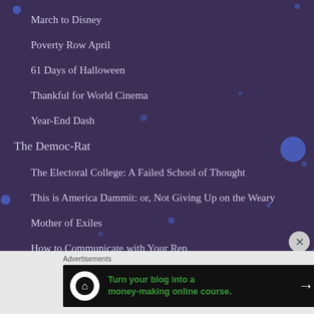March to Disney
Poverty Row April
61 Days of Halloween
Thankful for World Cinema
Year-End Dash
The Democ-Rat
The Electoral College: A Failed School of Thought
This is America Dammit: or, Not Giving Up on the Weary
Mother of Exiles
How to Communicate with Your Rep
Undermining the Electoral College in Three Charts
[Figure (infographic): Advertisement banner: Turn your blog into a money-making online course.]